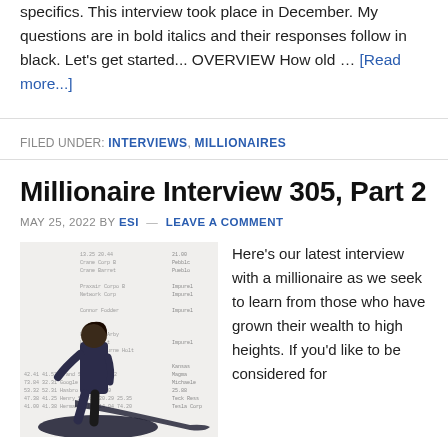specifics. This interview took place in December. My questions are in bold italics and their responses follow in black. Let's get started... OVERVIEW How old … [Read more...]
FILED UNDER: INTERVIEWS, MILLIONAIRES
Millionaire Interview 305, Part 2
MAY 25, 2022 BY ESI — LEAVE A COMMENT
[Figure (photo): A person standing in front of a blurred stock market data spreadsheet background with figures and numbers visible.]
Here's our latest interview with a millionaire as we seek to learn from those who have grown their wealth to high heights. If you'd like to be considered for